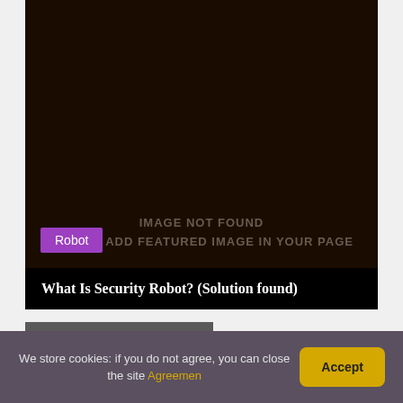[Figure (other): Dark brown/black image placeholder showing 'IMAGE NOT FOUND / PLEASE ADD FEATURED IMAGE IN YOUR PAGE' text with a purple 'Robot' tag label]
What Is Security Robot? (Solution found)
LEAVE A REPLY
We store cookies: if you do not agree, you can close the site Agreemen